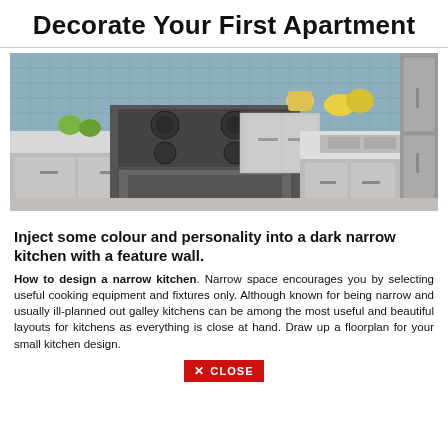Decorate Your First Apartment
[Figure (photo): Modern narrow kitchen with stainless steel appliances, gray cabinets, blue tile backsplash, and fruit on the countertop.]
Inject some colour and personality into a dark narrow kitchen with a feature wall.
How to design a narrow kitchen. Narrow space encourages you by selecting useful cooking equipment and fixtures only. Although known for being narrow and usually ill-planned out galley kitchens can be among the most useful and beautiful layouts for kitchens as everything is close at hand. Draw up a floorplan for your small kitchen design.
✕ CLOSE